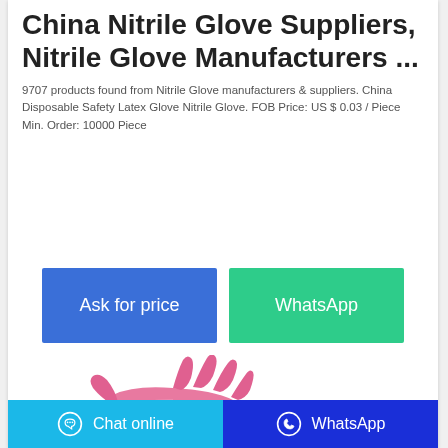China Nitrile Glove Suppliers, Nitrile Glove Manufacturers ...
9707 products found from Nitrile Glove manufacturers & suppliers. China Disposable Safety Latex Glove Nitrile Glove. FOB Price: US $ 0.03 / Piece Min. Order: 10000 Piece
[Figure (other): Ask for price button (blue) and WhatsApp button (green)]
[Figure (photo): Pink nitrile gloves shown from the side]
Chat online | WhatsApp